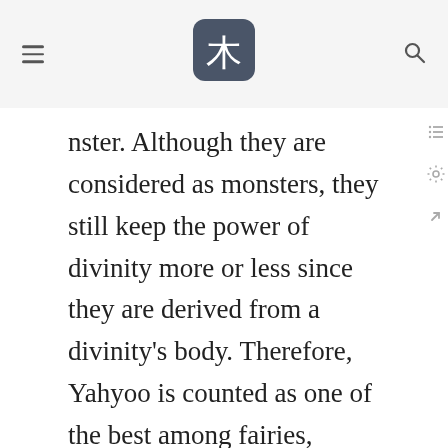[menu icon] [logo: tree character] [search icon]
nster. Although they are considered as monsters, they still keep the power of divinity more or less since they are derived from a divinity's body. Therefore, Yahyoo is counted as one of the best among fairies, monsters, ghosts, and beasts whe. talking about their power.
This Yahyoo standing right in front is absolutely in contempt of her opponents Deewolf and Scharmdow.
***
Deewolf raises his hand, the ground then cracks and all the dirt and rocks inside start to aim at the Yahyoo and shoot like they are weapons. But Yahyoo does not even move, instead, she moves her hands and then the things flying to her blas